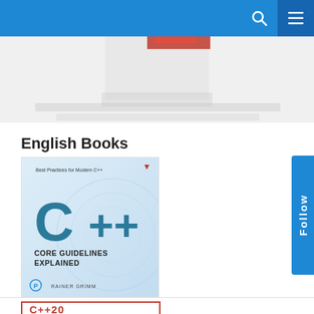Navigation bar with search and menu icons
[Figure (screenshot): Partial hero image showing top of a book cover, mostly white/grey with red accent at top]
English Books
[Figure (photo): Book cover: C++ Core Guidelines Explained, Best Practices for Modern C++, by Rainer Grimm. Publisher Pearson. Light blue background with large teal C++ logo and text 'CORE GUIDELINES EXPLAINED'.]
[Figure (photo): Partial book cover at bottom showing red border and 'C++20' text in red]
[Figure (other): Blue 'Follow' tab on right side]